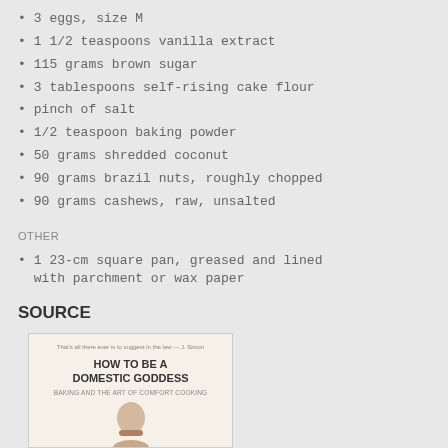3 eggs, size M
1 1/2 teaspoons vanilla extract
115 grams brown sugar
3 tablespoons self-rising cake flour
pinch of salt
1/2 teaspoon baking powder
50 grams shredded coconut
90 grams brazil nuts, roughly chopped
90 grams cashews, raw, unsalted
OTHER
1 23-cm square pan, greased and lined with parchment or wax paper
SOURCE
[Figure (photo): Book cover of 'How to Be a Domestic Goddess: Baking and the Art of Comfort Cooking']